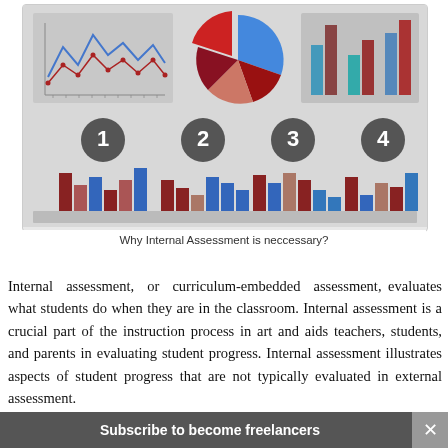[Figure (infographic): Infographic showing charts (line chart, pie chart, bar charts) with numbered icons 1-4 and grouped bar charts below each number, on a grey background]
Why Internal Assessment is neccessary?
Internal assessment, or curriculum-embedded assessment, evaluates what students do when they are in the classroom. Internal assessment is a crucial part of the instruction process in art and aids teachers, students, and parents in evaluating student progress. Internal assessment illustrates aspects of student progress that are not typically evaluated in external assessment.
Subscribe to become freelancers